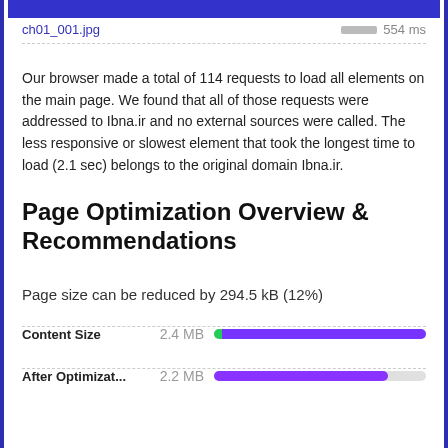ch01_001.jpg   554 ms
Our browser made a total of 114 requests to load all elements on the main page. We found that all of those requests were addressed to Ibna.ir and no external sources were called. The less responsive or slowest element that took the longest time to load (2.1 sec) belongs to the original domain Ibna.ir.
Page Optimization Overview & Recommendations
Page size can be reduced by 294.5 kB (12%)
Content Size   2.4 MB
After Optimizat...   2.2 MB